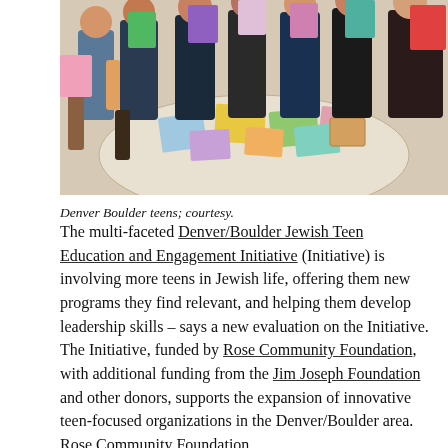[Figure (photo): Group of teens sitting and standing around a round table covered with colorful papers and craft supplies, holding up colored cards and smiling at the camera in an indoor setting.]
Denver Boulder teens; courtesy.
The multi-faceted Denver/Boulder Jewish Teen Education and Engagement Initiative (Initiative) is involving more teens in Jewish life, offering them new programs they find relevant, and helping them develop leadership skills – says a new evaluation on the Initiative. The Initiative, funded by Rose Community Foundation, with additional funding from the Jim Joseph Foundation and other donors, supports the expansion of innovative teen-focused organizations in the Denver/Boulder area. Rose Community Foundation